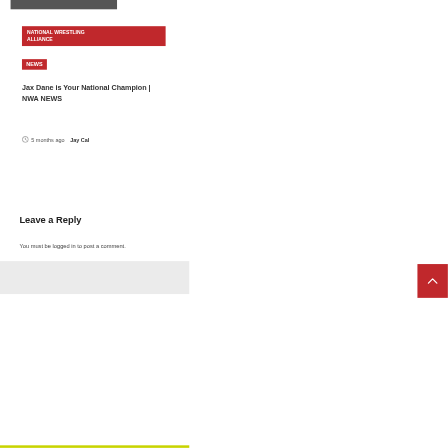[Figure (photo): Partial image strip at top showing a wrestling scene]
NATIONAL WRESTLING ALLIANCE
NEWS
Jax Dane is Your National Champion | NWA NEWS
5 months ago  Jay Cal
Leave a Reply
You must be logged in to post a comment.
Search for
1.  Yellow Pages